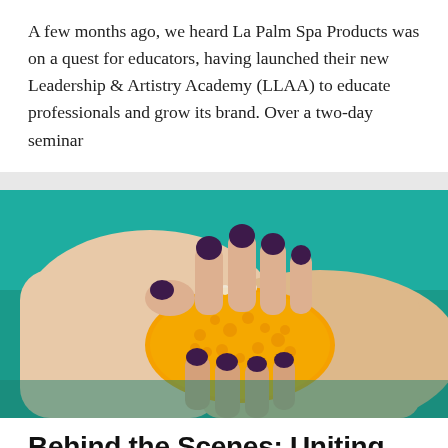A few months ago, we heard La Palm Spa Products was on a quest for educators, having launched their new Leadership & Artistry Academy (LLAA) to educate professionals and grow its brand. Over a two-day seminar
[Figure (photo): Close-up photo of a woman's hands with dark purple nail polish holding a textured orange object with bumps and pearl-like beads, against a teal background.]
Behind the Scenes: Uniting Nail Techs in a Love of Nails